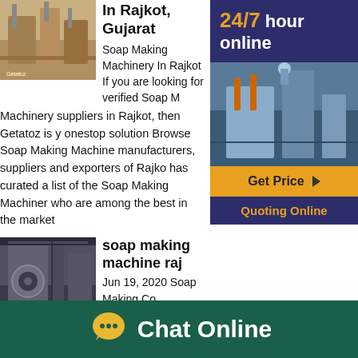In Rajkot, Gujarat
Soap Making Machinery In Rajkot If you are looking for verified Soap Making Machinery suppliers in Rajkot, then Getatoz is your onestop solution Browse Soap Making Machinery manufacturers, suppliers and exporters of Rajkot. has curated a list of the Soap Making Machinery who are among the best in the market
[Figure (photo): Industrial machinery equipment photo top]
[Figure (infographic): Sidebar with 24/7 hour online text, industrial photo, Get Price button, and Quoting Online button]
soap making machine raj
Jun 19, 2020  Soap Making Course in Rajkot, Soap Making Classes Soap Making Course in Rajkot from CSDO best Institute for Soap Making Classes in Rajkot Enroll Now Call +91 Get Price; Ekta Nail Machine, Rajkot, Gujarat, India Ekta Nail Machine is a reputed
[Figure (photo): Industrial machinery interior photo bottom]
[Figure (infographic): Chat Online footer banner with chat bubble icon and Chat Online text on dark green background]